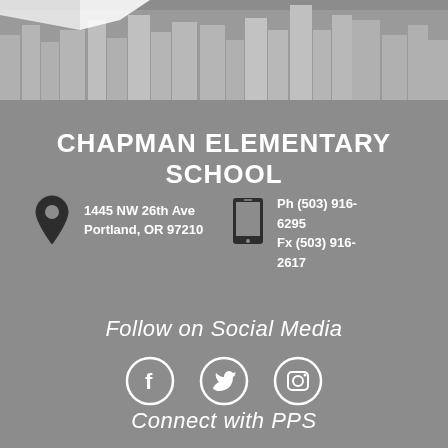[Figure (illustration): Gray city skyline silhouette illustration at top of page with white/light gray buildings and flag]
CHAPMAN ELEMENTARY SCHOOL
1445 NW 26th Ave Portland, OR 97210
Ph (503) 916-6295 Fx (503) 916-2617
Follow on Social Media
[Figure (illustration): Social media icons: Facebook, Twitter, Instagram in white circles]
Connect with PPS